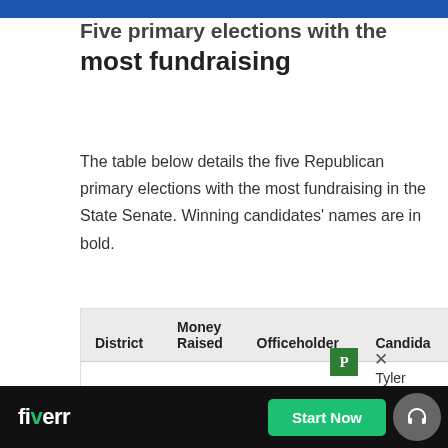Five primary elections with the most fundraising
The table below details the five Republican primary elections with the most fundraising in the State Senate. Winning candidates' names are in bold.
| District | Money Raised | Officeholder | Candida... |
| --- | --- | --- | --- |
|  |  |  | Tyler |
| District |  | Dennis Kruse |  |
| 14 |  |  | ...Der |